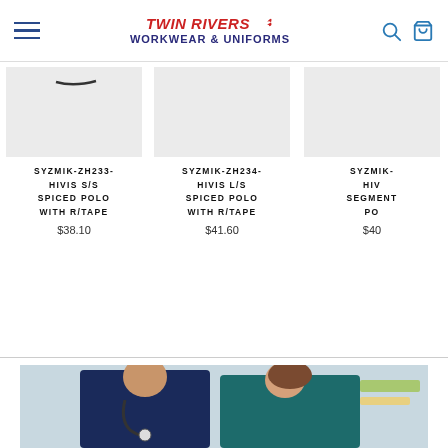Twin Rivers Workwear & Uniforms — navigation header with hamburger menu, logo, search and cart icons
[Figure (photo): Product image placeholder — light gray rectangle for SYZMIK-ZH233 polo]
SYZMIK-ZH233-HIVIS S/S SPICED POLO WITH R/TAPE
$38.10
[Figure (photo): Product image placeholder — light gray rectangle for SYZMIK-ZH234 polo]
SYZMIK-ZH234-HIVIS L/S SPICED POLO WITH R/TAPE
$41.60
[Figure (photo): Partial product image — cropped right, SYZMIK- HIVIS SEGMENT PO...]
SYZMIK-
HIV
SEGMENT
PO
$40...
[Figure (photo): Photo of two healthcare workers in scrubs — male with stethoscope in navy scrubs, female in teal scrubs, in a clinical setting]